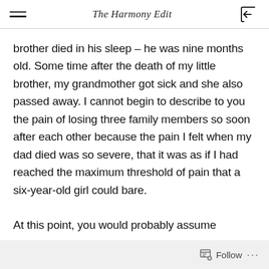The Harmony Edit
brother died in his sleep – he was nine months old. Some time after the death of my little brother, my grandmother got sick and she also passed away. I cannot begin to describe to you the pain of losing three family members so soon after each other because the pain I felt when my dad died was so severe, that it was as if I had reached the maximum threshold of pain that a six-year-old girl could bare.

At this point, you would probably assume
Follow ...